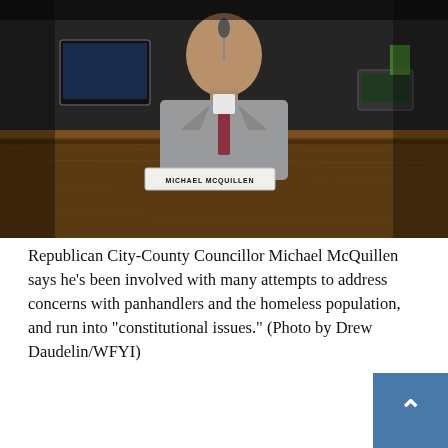[Figure (photo): Republican City-County Councillor Michael McQuillen seated at a council dais with a nameplate reading 'MICHAEL MCQUILLEN', wearing a gray suit and dark tie, speaking at a microphone in a council chamber.]
Republican City-County Councillor Michael McQuillen says he's been involved with many attempts to address concerns with panhandlers and the homeless population, and run into "constitutional issues." (Photo by Drew Daudelin/WFYI)
Stephenson wasn't the only one having problems.
Michael McQuillen leads the Republican minority in the City-County Council and says he saw a jump in complaints via phone calls and emails this year – no specifically about Spice, but about the more broad, e visible element: the increased number of homeless